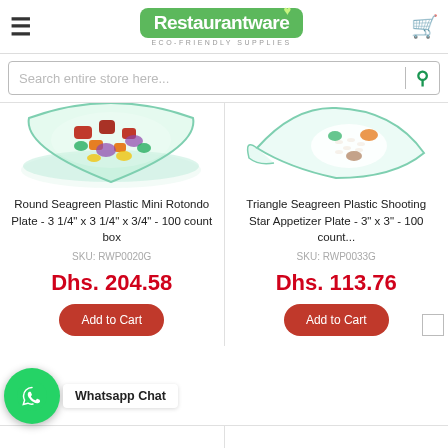Restaurantware ECO-FRIENDLY SUPPLIES
Search entire store here...
[Figure (photo): Photo of a round seagreen plastic bowl filled with colorful food (meat and vegetables)]
Round Seagreen Plastic Mini Rotondo Plate - 3 1/4" x 3 1/4" x 3/4" - 100 count box
SKU: RWP0020G
Dhs. 204.58
Add to Cart
[Figure (photo): Photo of a triangle seagreen plastic plate with rice and food on it]
Triangle Seagreen Plastic Shooting Star Appetizer Plate - 3" x 3" - 100 count...
SKU: RWP0033G
Dhs. 113.76
Add to Cart
Whatsapp Chat